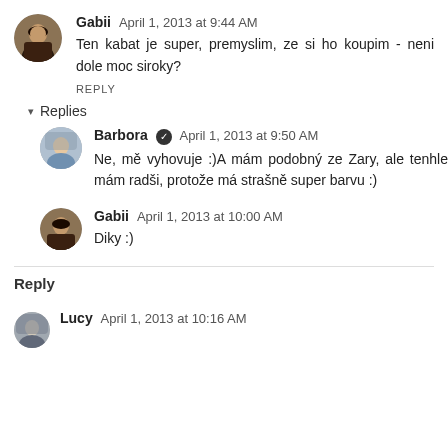Gabii  April 1, 2013 at 9:44 AM
Ten kabat je super, premyslim, ze si ho koupim - neni dole moc siroky?
REPLY
Replies
Barbora  April 1, 2013 at 9:50 AM
Ne, mě vyhovuje :)A mám podobný ze Zary, ale tenhle mám radši, protože má strašně super barvu :)
Gabii  April 1, 2013 at 10:00 AM
Diky :)
Reply
Lucy  April 1, 2013 at 10:16 AM